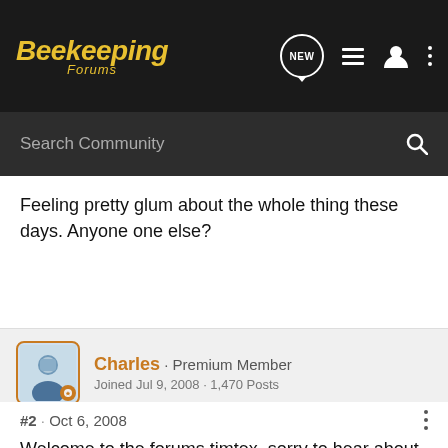Beekeeping Forums
Search Community
Feeling pretty glum about the whole thing these days. Anyone one else?
Charles · Premium Member
Joined Jul 9, 2008 · 1,470 Posts
#2 · Oct 6, 2008
Welcome to the forums timtex, sorry to hear about the honey crop 🙁